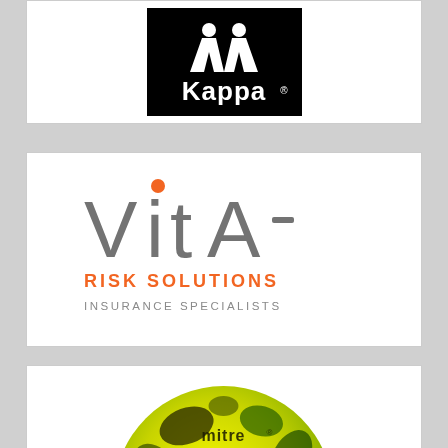[Figure (logo): Kappa brand logo — white Kappa wordmark and two back-to-back silhouette figures on a black background]
[Figure (logo): Vita Risk Solutions Insurance Specialists logo — large grey 'VitA' text with orange dot above lowercase 'i', orange 'RISK SOLUTIONS' subtitle, grey 'INSURANCE SPECIALISTS' tagline]
[Figure (photo): Mitre football (soccer ball) — yellow and green ball with black markings, 'mitre' brand text visible on the ball, partially cropped at bottom]